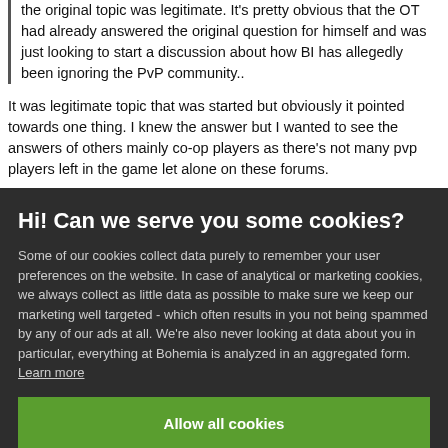the original topic was legitimate. It's pretty obvious that the OT had already answered the original question for himself and was just looking to start a discussion about how BI has allegedly been ignoring the PvP community..
It was legitimate topic that was started but obviously it pointed towards one thing. I knew the answer but I wanted to see the answers of others mainly co-op players as there's not many pvp players left in the game let alone on these forums.
Hi! Can we serve you some cookies?
Some of our cookies collect data purely to remember your user preferences on the website. In case of analytical or marketing cookies, we always collect as little data as possible to make sure we keep our marketing well targeted - which often results in you not being spammed by any of our ads at all. We're also never looking at data about you in particular, everything at Bohemia is analyzed in an aggregated form. Learn more
Allow all cookies
I want more options